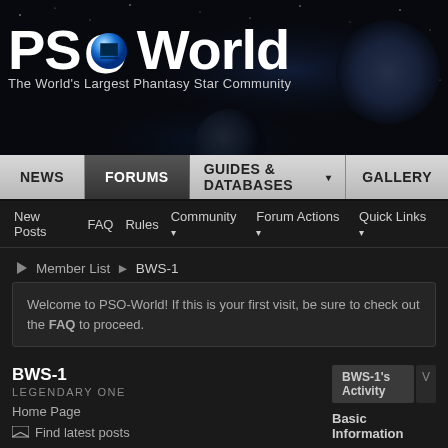[Figure (screenshot): PSO-World website header banner with space/galaxy background, showing the PSO-World logo with blue sphere O and tagline 'The World's Largest Phantasy Star Community']
PSO World - The World's Largest Phantasy Star Community
NEWS | FORUMS | GUIDES & DATABASES | GALLERY
New Posts  FAQ  Rules  Community  Forum Actions  Quick Links
Member List » BWS-1
Welcome to PSO-World! If this is your first visit, be sure to check out the FAQ to proceed.
BWS-1
LEGENDARY ONE
Home Page
Find latest posts
BWS-1's Activity
Basic Information
Date of Birth: